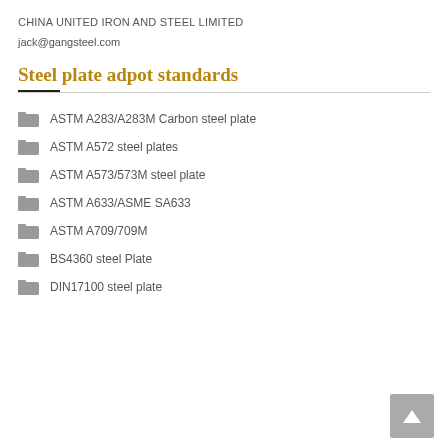CHINA UNITED IRON AND STEEL LIMITED
jack@gangsteel.com
Steel plate adpot standards
ASTM A283/A283M Carbon steel plate
ASTM A572 steel plates
ASTM A573/573M steel plate
ASTM A633/ASME SA633
ASTM A709/709M
BS4360 steel Plate
DIN17100 steel plate